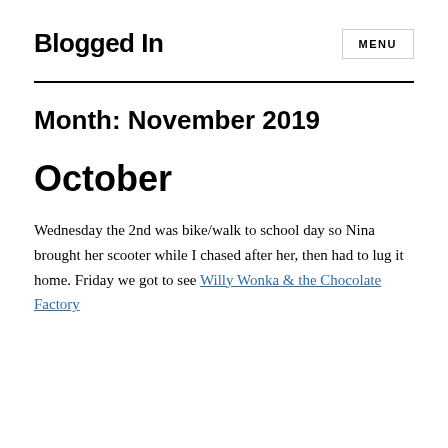Blogged In
Month: November 2019
October
Wednesday the 2nd was bike/walk to school day so Nina brought her scooter while I chased after her, then had to lug it home. Friday we got to see Willy Wonka & the Chocolate Factory